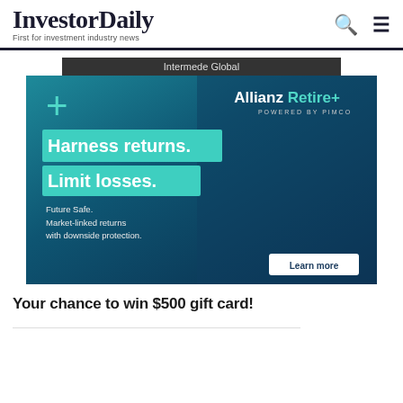InvestorDaily — First for investment industry news
[Figure (advertisement): Allianz Retire+ powered by PIMCO advertisement. Dark teal/blue background with an older man smiling. Text: 'Harness returns. Limit losses. Future Safe. Market-linked returns with downside protection.' with a 'Learn more' button. Header bar shows 'Intermede Global'.]
Your chance to win $500 gift card!